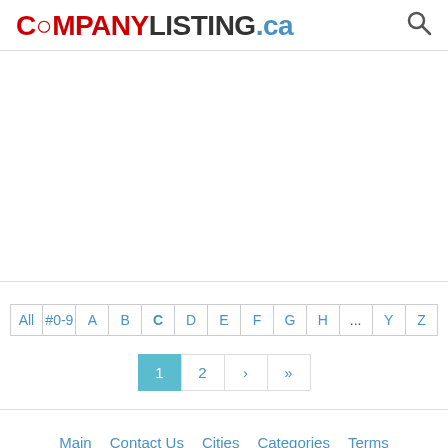COMPANYLISTING.ca
All #0-9 A B C D E F G H ... Y Z
1 2 › »
Main | Contact Us | Cities | Categories | Terms